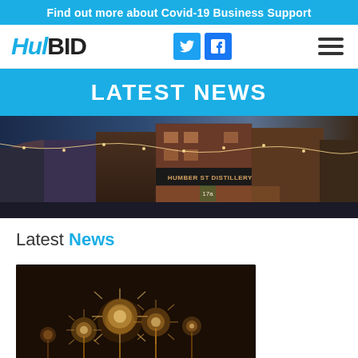Find out more about Covid-19 Business Support
[Figure (logo): HulBID logo with social media icons (Twitter and Facebook) and hamburger menu]
LATEST NEWS
[Figure (photo): Street photo showing Humber St Distillery Co. storefront with string lights and brick buildings at dusk]
Latest News
[Figure (photo): Dark photo showing glowing floral or dandelion-like light sculptures against a dark background]